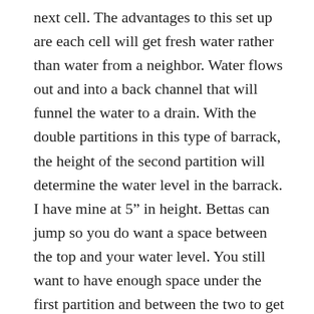next cell. The advantages to this set up are each cell will get fresh water rather than water from a neighbor. Water flows out and into a back channel that will funnel the water to a drain. With the double partitions in this type of barrack, the height of the second partition will determine the water level in the barrack. I have mine at 5″ in height. Bettas can jump so you do want a space between the top and your water level. You still want to have enough space under the first partition and between the two to get good water flow through the system. But again, you must make sure bettas do not get in this area. The 1/4″ I have under and between will allow a betta to get real stuck. You can use cross stitch canvas again and slide some between the two partitions to block the passage of